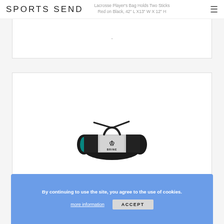SPORTS SEND
Lacrosse Player's Bag Holds Two Sticks Red on Black, 42" L X13" W X 12" H
[Figure (other): Gray and black Brine Magnus Equipment Bag duffel bag with shoulder strap and Brine crown logo]
Brine Magnus Equipment Bag
By continuing to use the site, you agree to the use of cookies.
more information   ACCEPT